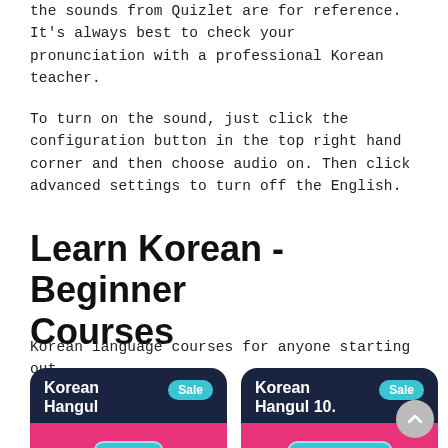the sounds from Quizlet are for reference. It's always best to check your pronunciation with a professional Korean teacher.
To turn on the sound, just click the configuration button in the top right hand corner and then choose audio on. Then click advanced settings to turn off the English.
Learn Korean - Beginner Courses
Korean language courses for anyone starting out.
[Figure (illustration): Two course cards with dark navy background. Left card: 'Korean Hangul' with 'Sale' badge and 'Trial' label. Right card: 'Korean Hangul 10.' with 'Sale' badge and 'Beginner' label. Both cards have pink sections with teal hexagonal shapes.]